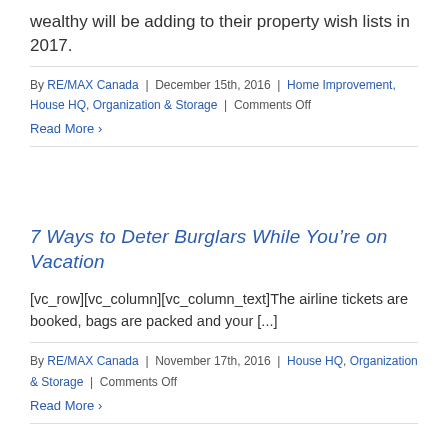wealthy will be adding to their property wish lists in 2017.
By RE/MAX Canada | December 15th, 2016 | Home Improvement, House HQ, Organization & Storage | Comments Off
Read More >
7 Ways to Deter Burglars While You're on Vacation
[vc_row][vc_column][vc_column_text]The airline tickets are booked, bags are packed and your [...]
By RE/MAX Canada | November 17th, 2016 | House HQ, Organization & Storage | Comments Off
Read More >